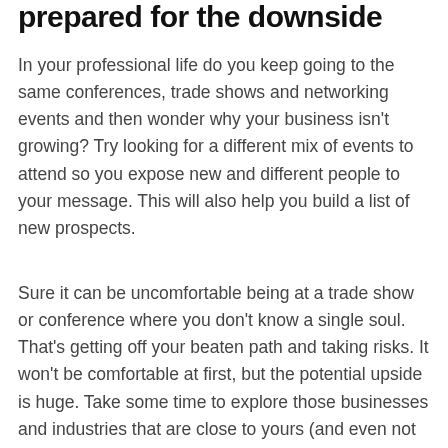prepared for the downside
In your professional life do you keep going to the same conferences, trade shows and networking events and then wonder why your business isn't growing? Try looking for a different mix of events to attend so you expose new and different people to your message. This will also help you build a list of new prospects.
Sure it can be uncomfortable being at a trade show or conference where you don't know a single soul. That's getting off your beaten path and taking risks. It won't be comfortable at first, but the potential upside is huge. Take some time to explore those businesses and industries that are close to yours (and even not